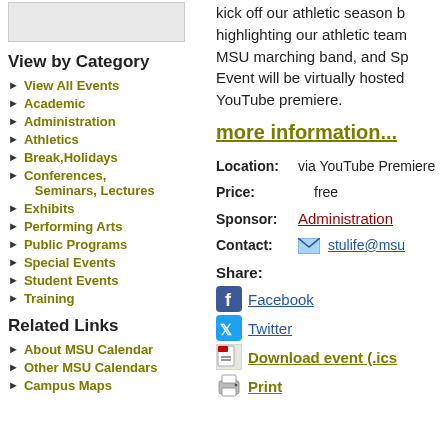[Figure (other): Gray placeholder image box in top left]
View by Category
View All Events
Academic
Administration
Athletics
Break,Holidays
Conferences, Seminars, Lectures
Exhibits
Performing Arts
Public Programs
Special Events
Student Events
Training
Related Links
About MSU Calendar
Other MSU Calendars
Campus Maps
kick off our athletic season b highlighting our athletic team MSU marching band, and Sp Event will be virtually hosted YouTube premiere.
more information...
Location: via YouTube Premiere
Price: free
Sponsor: Administration
Contact: stulife@msu
Share:
Facebook
Twitter
Download event (.ics)
Print